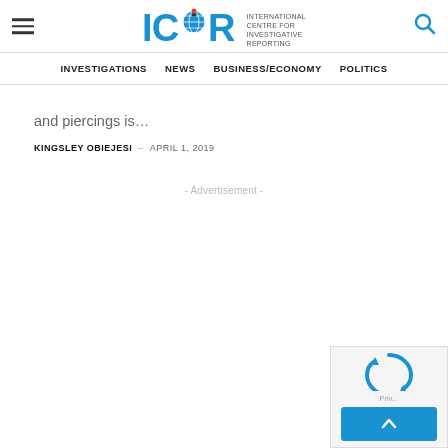ICIR - International Centre for Investigative Reporting
INVESTIGATIONS | NEWS | BUSINESS/ECONOMY | POLITICS
and piercings is…
KINGSLEY OBIEJESI – APRIL 1, 2019
- Advertisement -